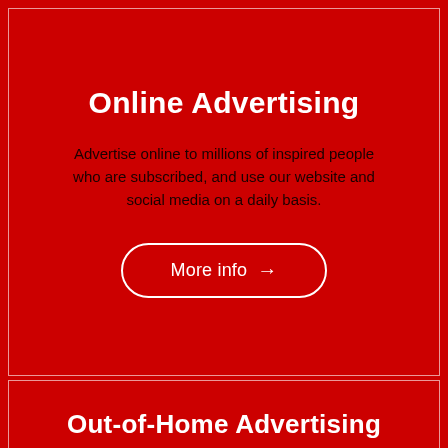Online Advertising
Advertise online to millions of inspired people who are subscribed, and use our website and social media on a daily basis.
More info →
Out-of-Home Advertising